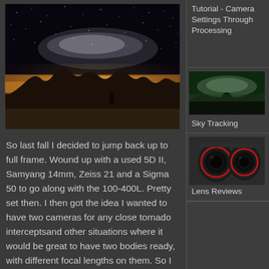[Figure (photo): Night sky photo showing Milky Way over rugged desert rock formations with a silhouetted figure, warm orange glow on horizon]
So last fall I decided to jump back up to full frame. Wound up with a used 5D II, Samyang 14mm, Zeiss 21 and a Sigma 50 to go along with the 100-400L. Pretty set then. I then got the idea I wanted to have two cameras for any close tornado interceptsand other situations where it would be great to have two bodies ready, with different focal lengths on them. So I
Tutorial - Camera Settings Through Processing
[Figure (photo): Night landscape with Milky Way visible over a road and mountainous terrain with green sky glow]
Sky Tracking
[Figure (photo): Two camera lenses side by side - a wide angle and a telephoto lens]
Lens Reviews